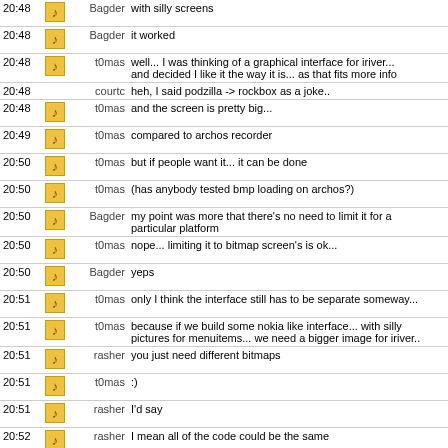| Time | Icon | Nick | Message |
| --- | --- | --- | --- |
| 20:48 | icon | Bagder | with silly screens |
| 20:48 | icon | Bagder | it worked |
| 20:48 | icon | t0mas | well... I was thinking of a graphical interface for iriver... and decided I like it the way it is... as that fits more info |
| 20:48 |  | courtc | heh, I said podzilla -> rockbox as a joke.. |
| 20:48 | icon | t0mas | and the screen is pretty big... |
| 20:49 | icon | t0mas | compared to archos recorder |
| 20:50 | icon | t0mas | but if people want it... it can be done |
| 20:50 | icon | t0mas | (has anybody tested bmp loading on archos?) |
| 20:50 | icon | Bagder | my point was more that there's no need to limit it for a particular platform |
| 20:50 | icon | t0mas | nope... limiting it to bitmap screen's is ok... |
| 20:50 | icon | Bagder | yeps |
| 20:51 | icon | t0mas | only I think the interface still has to be separate someway... |
| 20:51 | icon | t0mas | because if we build some nokia like interface... with silly pictures for menuitems... we need a bigger image for iriver.. |
| 20:51 | icon | rasher | you just need different bitmaps |
| 20:51 | icon | t0mas | :) |
| 20:51 | icon | rasher | I'd say |
| 20:52 | icon | rasher | I mean all of the code could be the same |
| 20:57 |  | * | courtc points to Small(http://www.compuphase.com/small.htm) as an option to increase portability between ipodlinux and rockbox :D |
| 20:58 | icon | Bagder | how would that help? |
| 20:58 | icon | rasher | implementing a vm? |